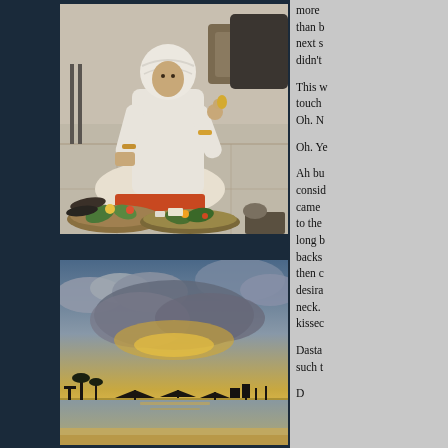[Figure (photo): A man dressed in white traditional clothing and white turban sits cross-legged on the floor, holding a small bell and flower, surrounded by various ritual offerings and food items in baskets and trays on the ground. Sandals are visible nearby.]
[Figure (photo): A wide panoramic photograph of a beach at sunset/sunrise with silhouettes of parasols and a pier on the horizon, dramatic cloudy sky with golden light breaking through clouds.]
more than b next s didn't

This w touch Oh. N

Oh. Ye

Ah bu consid came to the long b backs then c desira neck. kissec

Dasta such t

D